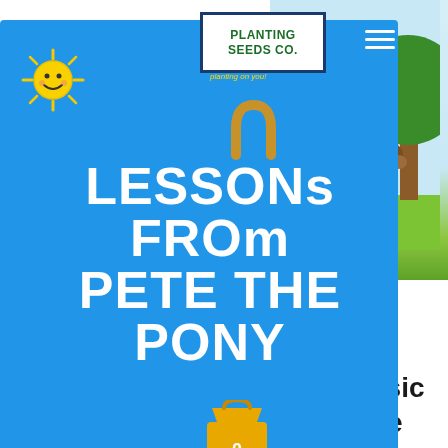[Figure (screenshot): Website screenshot of Planting Seeds Co. featuring 'Lessons from Pete the Pony' with blue card overlay, sun illustration, hamburger menu, logo, horseshoe icon, shopping bag with 0, and pony illustration top right]
LESSONS FROM PETE THE PONY
years is one of the most important times. Even as adults, we remember some of the old classic storybooks over the years that lauded those who actually studied hard for an exam and those who were busy playing